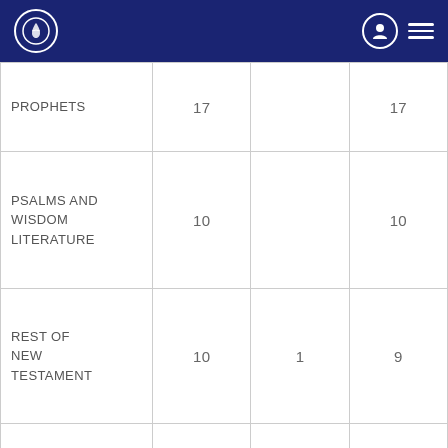Navigation header with logo, user icon, and menu
|  |  |  |  |
| --- | --- | --- | --- |
| PROPHETS | 17 |  | 17 |
| PSALMS AND WISDOM LITERATURE | 10 |  | 10 |
| REST OF NEW TESTAMENT | 10 | 1 | 9 |
| TOTAL | 100 | 1 | 99 |